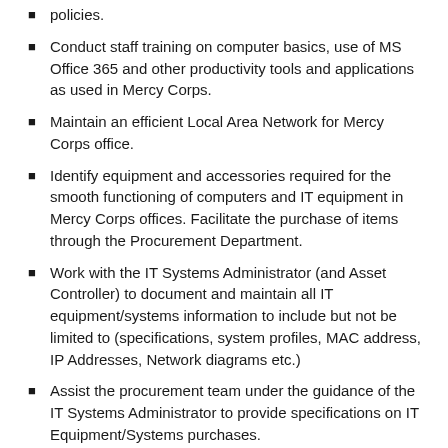policies.
Conduct staff training on computer basics, use of MS Office 365 and other productivity tools and applications as used in Mercy Corps.
Maintain an efficient Local Area Network for Mercy Corps office.
Identify equipment and accessories required for the smooth functioning of computers and IT equipment in Mercy Corps offices. Facilitate the purchase of items through the Procurement Department.
Work with the IT Systems Administrator (and Asset Controller) to document and maintain all IT equipment/systems information to include but not be limited to (specifications, system profiles, MAC address, IP Addresses, Network diagrams etc.)
Assist the procurement team under the guidance of the IT Systems Administrator to provide specifications on IT Equipment/Systems purchases.
Responsible use and confidentiality of any information